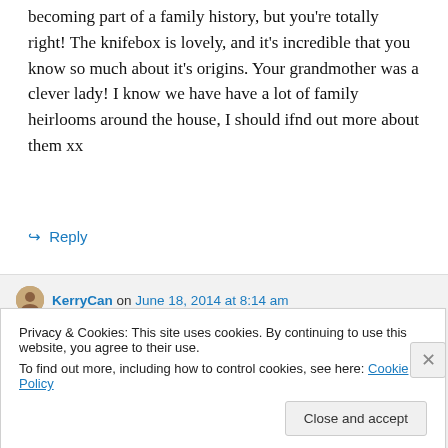becoming part of a family history, but you're totally right! The knifebox is lovely, and it's incredible that you know so much about it's origins. Your grandmother was a clever lady! I know we have have a lot of family heirlooms around the house, I should ifnd out more about them xx
↳ Reply
KerryCan on June 18, 2014 at 8:14 am
Privacy & Cookies: This site uses cookies. By continuing to use this website, you agree to their use.
To find out more, including how to control cookies, see here: Cookie Policy
Close and accept